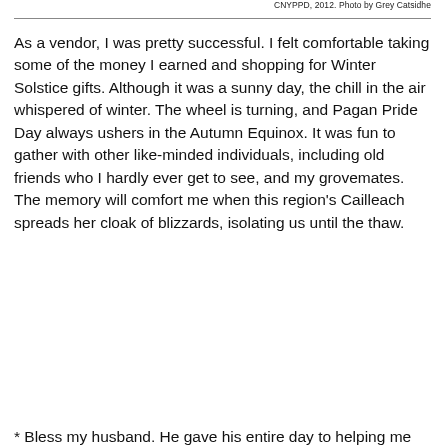CNYPPD, 2012.  Photo by Grey Catsidhe
As a vendor, I was pretty successful.  I felt comfortable taking some of the money I earned and shopping for Winter Solstice gifts.  Although it was a sunny day, the chill in the air whispered of winter.  The wheel is turning, and Pagan Pride Day always ushers in the Autumn Equinox.  It was fun to gather with other like-minded individuals, including old friends who I hardly ever get to see, and my grovemates.  The memory will comfort me when this region's Cailleach spreads her cloak of blizzards, isolating us until the thaw.
* Bless my husband.  He gave his entire day to helping me